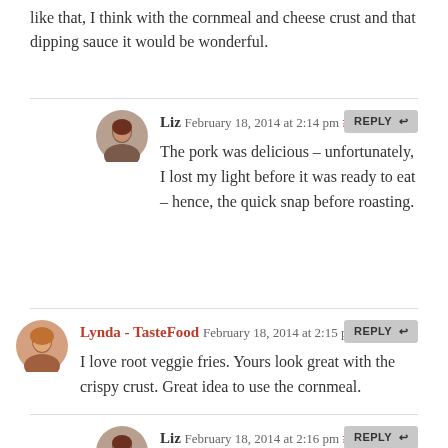like that, I think with the cornmeal and cheese crust and that dipping sauce it would be wonderful.
Liz February 18, 2014 at 2:14 pm #
The pork was delicious – unfortunately, I lost my light before it was ready to eat – hence, the quick snap before roasting.
Lynda - TasteFood February 18, 2014 at 2:15 pm #
I love root veggie fries. Yours look great with the crispy crust. Great idea to use the cornmeal.
Liz February 18, 2014 at 2:16 pm #